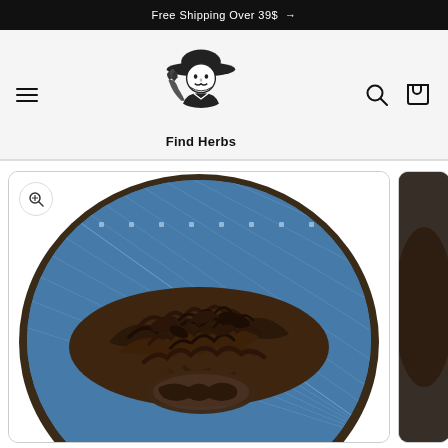Free Shipping Over 39$ →
[Figure (logo): Find Herbs logo: illustration of a farmer wearing a wide-brimmed hat holding herbs, with text 'Find Herbs' below]
[Figure (photo): Photo of dried herbs/roots piled on a blue and white patterned ceramic plate/bowl, viewed from above. The herbs are dark brown, tangled roots and leaves.]